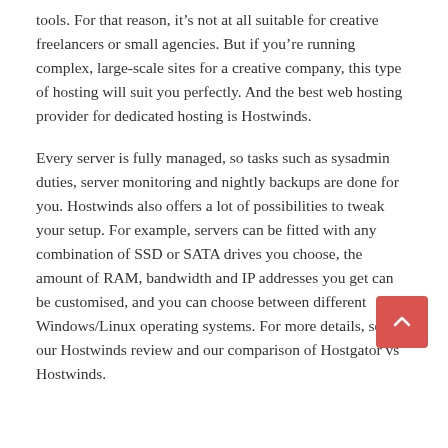tools. For that reason, it's not at all suitable for creative freelancers or small agencies. But if you're running complex, large-scale sites for a creative company, this type of hosting will suit you perfectly. And the best web hosting provider for dedicated hosting is Hostwinds.
Every server is fully managed, so tasks such as sysadmin duties, server monitoring and nightly backups are done for you. Hostwinds also offers a lot of possibilities to tweak your setup. For example, servers can be fitted with any combination of SSD or SATA drives you choose, the amount of RAM, bandwidth and IP addresses you get can be customised, and you can choose between different Windows/Linux operating systems. For more details, see our Hostwinds review and our comparison of Hostgator vs Hostwinds.
[Figure (other): Back to top button — a red/salmon rounded square button with a white upward-pointing caret/chevron arrow]